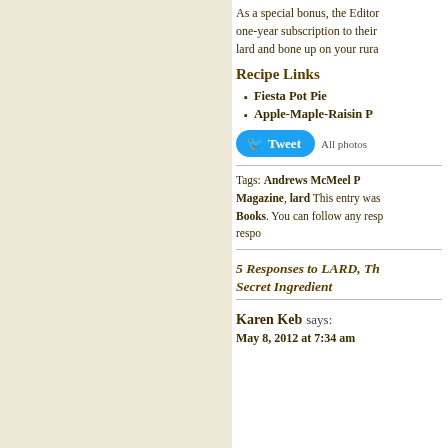As a special bonus, the Editor one-year subscription to their lard and bone up on your rura
Recipe Links
Fiesta Pot Pie
Apple-Maple-Raisin P
Tweet  All photos
Tags: Andrews McMeel P Magazine, lard This entry was Books. You can follow any resp respo
5 Responses to LARD, Th Secret Ingredient
Karen Keb says: May 8, 2012 at 7:34 am